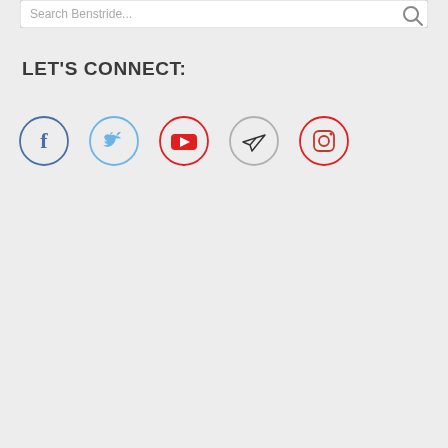[Figure (screenshot): Search bar with placeholder text 'Search Benstride...' and a search magnifier icon on the right]
LET'S CONNECT:
[Figure (illustration): Row of five social media icon circles: Facebook (blue outline), Twitter (light blue outline), YouTube (red outline with red play button), Telegram (gray outline with paper plane), Instagram (red/pink outline)]